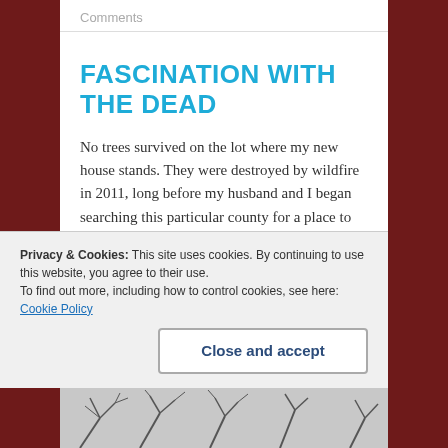Comments
FASCINATION WITH THE DEAD
No trees survived on the lot where my new house stands. They were destroyed by wildfire in 2011, long before my husband and I began searching this particular county for a place to call home.
One tree on the lot behind ours stands as a reminder of an area once thickly forested. It stands for only a little while longer, we suspect. A house is being built on that lot, and construction has been…
Privacy & Cookies: This site uses cookies. By continuing to use this website, you agree to their use.
To find out more, including how to control cookies, see here: Cookie Policy
Close and accept